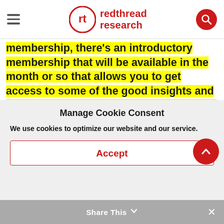redthread research
membership, there's an introductory membership that will be available in the month or so that allows you to get access to some of the good insights and research, as well as stay in touch with us and participate in some of our roundtables and other events.
Manage Cookie Consent
We use cookies to optimize our website and our service.
Accept
Share This